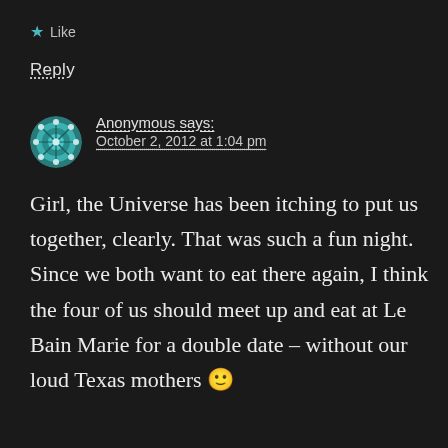★ Like
Reply
Anonymous says:
October 2, 2012 at 1:04 pm
Girl, the Universe has been itching to put us together, clearly. That was such a fun night. Since we both want to eat there again, I think the four of us should meet up and eat at Le Bain Marie for a double date – without our loud Texas mothers 🙂